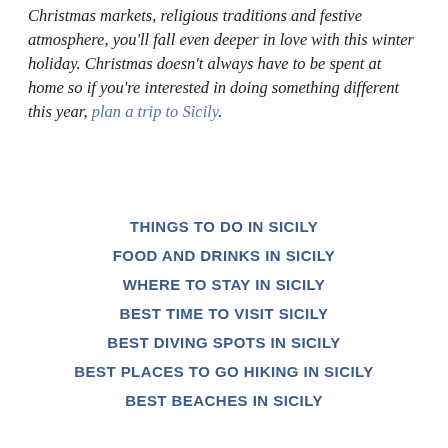Christmas markets, religious traditions and festive atmosphere, you'll fall even deeper in love with this winter holiday. Christmas doesn't always have to be spent at home so if you're interested in doing something different this year, plan a trip to Sicily.
THINGS TO DO IN SICILY
FOOD AND DRINKS IN SICILY
WHERE TO STAY IN SICILY
BEST TIME TO VISIT SICILY
BEST DIVING SPOTS IN SICILY
BEST PLACES TO GO HIKING IN SICILY
BEST BEACHES IN SICILY